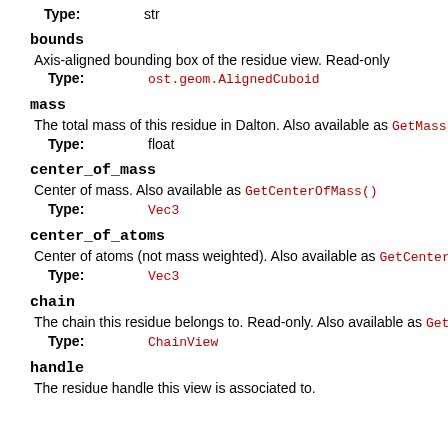Type:   str
bounds
Axis-aligned bounding box of the residue view. Read-only
Type:   ost.geom.AlignedCuboid
mass
The total mass of this residue in Dalton. Also available as GetMass()
Type:   float
center_of_mass
Center of mass. Also available as GetCenterOfMass()
Type:   Vec3
center_of_atoms
Center of atoms (not mass weighted). Also available as GetCenterO...
Type:   Vec3
chain
The chain this residue belongs to. Read-only. Also available as GetCh...
Type:   ChainView
handle
The residue handle this view is associated to.